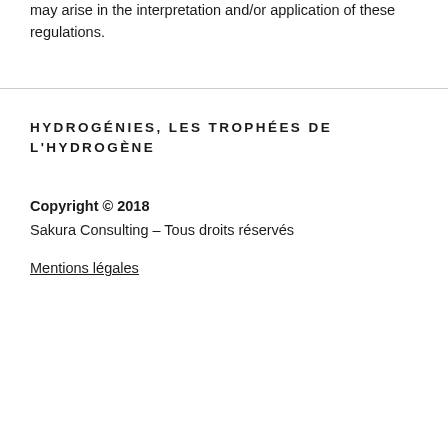may arise in the interpretation and/or application of these regulations.
HYDROGÉNIES, LES TROPHÉES DE L'HYDROGÈNE
Copyright © 2018
Sakura Consulting – Tous droits réservés
Mentions légales